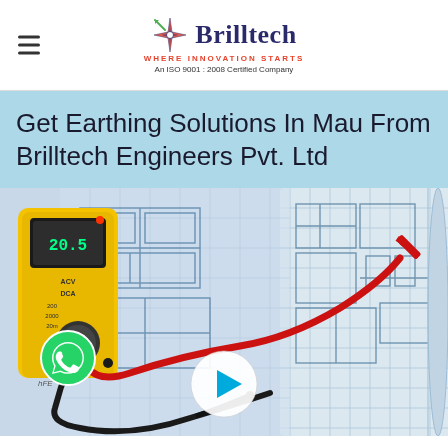Brilltech — WHERE INNOVATION STARTS — An ISO 9001 : 2008 Certified Company
Get Earthing Solutions In Mau From Brilltech Engineers Pvt. Ltd
[Figure (photo): Photo of a yellow digital multimeter with red and black probes resting on rolled engineering/architectural blueprints, with WhatsApp icon and video play button overlaid]